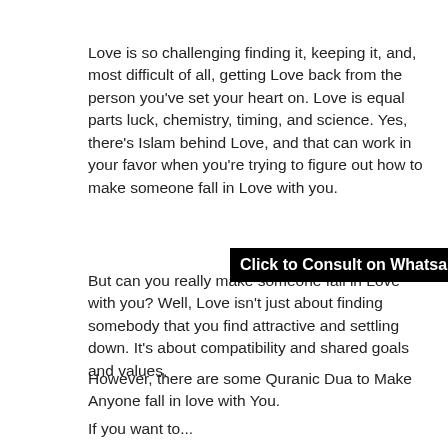Love is so challenging finding it, keeping it, and, most difficult of all, getting Love back from the person you've set your heart on. Love is equal parts luck, chemistry, timing, and science. Yes, there's Islam behind Love, and that can work in your favor when you're trying to figure out how to make someone fall in Love with you.
Click to Consult on Whatsapp
But can you really make someone fall in Love with you? Well, Love isn't just about finding somebody that you find attractive and settling down. It's about compatibility and shared goals and values.
However, there are some Quranic Dua to Make Anyone fall in love with You.
If you want to...